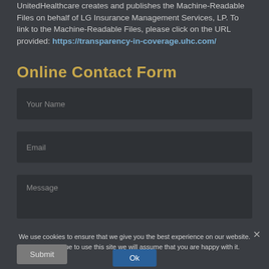UnitedHealthcare creates and publishes the Machine-Readable Files on behalf of LG Insurance Management Services, LP. To link to the Machine-Readable Files, please click on the URL provided: https://transparency-in-coverage.uhc.com/
Online Contact Form
Your Name
Email
Message
We use cookies to ensure that we give you the best experience on our website. If you continue to use this site we will assume that you are happy with it.
Ok
Submit